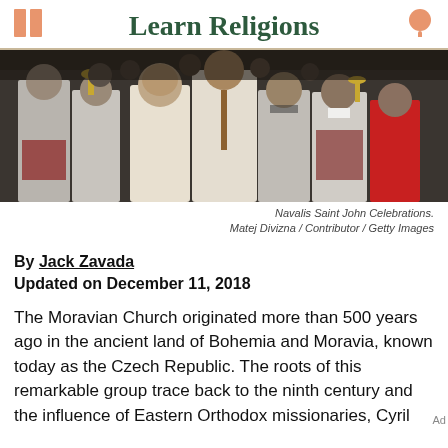Learn Religions
[Figure (photo): Religious procession with people in white robes carrying ceremonial objects, photographed outdoors.]
Navalis Saint John Celebrations. Matej Divizna / Contributor / Getty Images
By Jack Zavada
Updated on December 11, 2018
The Moravian Church originated more than 500 years ago in the ancient land of Bohemia and Moravia, known today as the Czech Republic. The roots of this remarkable group trace back to the ninth century and the influence of Eastern Orthodox missionaries, Cyril